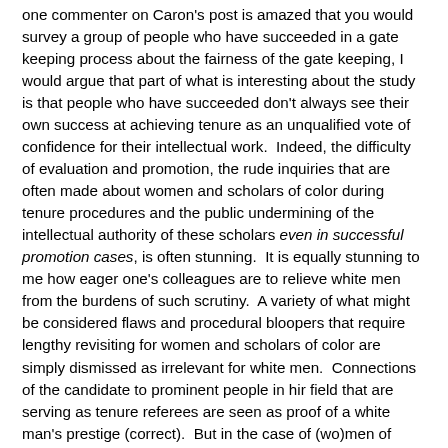one commenter on Caron's post is amazed that you would survey a group of people who have succeeded in a gate keeping process about the fairness of the gate keeping, I would argue that part of what is interesting about the study is that people who have succeeded don't always see their own success at achieving tenure as an unqualified vote of confidence for their intellectual work.  Indeed, the difficulty of evaluation and promotion, the rude inquiries that are often made about women and scholars of color during tenure procedures and the public undermining of the intellectual authority of these scholars even in successful promotion cases, is often stunning.  It is equally stunning to me how eager one's colleagues are to relieve white men from the burdens of such scrutiny.  A variety of what might be considered flaws and procedural bloopers that require lengthy revisiting for women and scholars of color are simply dismissed as irrelevant for white men.  Connections of the candidate to prominent people in hir field that are serving as tenure referees are seen as proof of a white man's prestige (correct).  But in the case of (wo)men of color, such referees are often dismissed because they are perceived as lacking objectivity (they are often perceived as lacking status in the